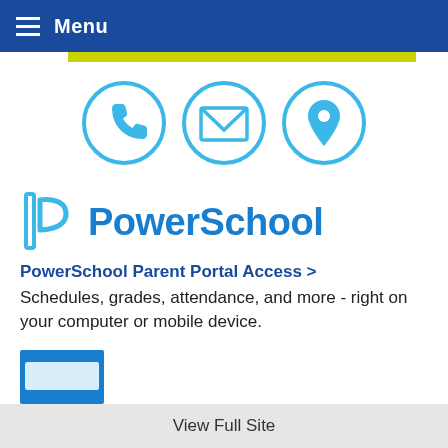Menu
[Figure (illustration): Three circular icons in light blue: phone/call icon, envelope/email icon, and map pin/location icon]
[Figure (logo): PowerSchool logo with stylized P icon in light blue and 'PowerSchool' text in blue]
PowerSchool Parent Portal Access >
Schedules, grades, attendance, and more - right on your computer or mobile device.
[Figure (screenshot): Partial screenshot thumbnail with blue header bar]
View Full Site